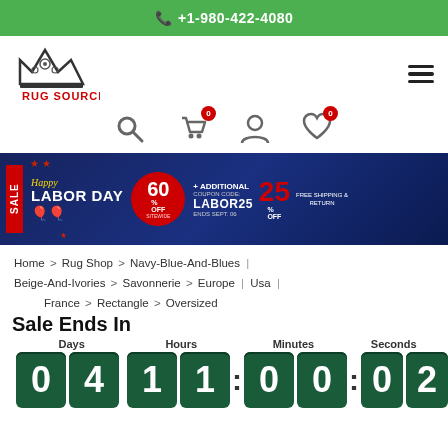+1-980-422-4080
[Figure (logo): Rug Source crown logo with text RUG SOURCE in red]
[Figure (infographic): Labor Day sale banner: Happy LABOR DAY 60% OFF SITEWIDE + ADDITIONAL COUPON CODE: LABOR25 25% OFF ENDS SEPT. 06 FREE SHIPPING & RETURN]
Home > Rug Shop > Navy-Blue-And-Blues | Beige-And-Ivories > Savonnerie > Europe | Usa | France > Rectangle > Oversized
Sale Ends In
Days 04 Hours 11 : Minutes 00 : Seconds 02